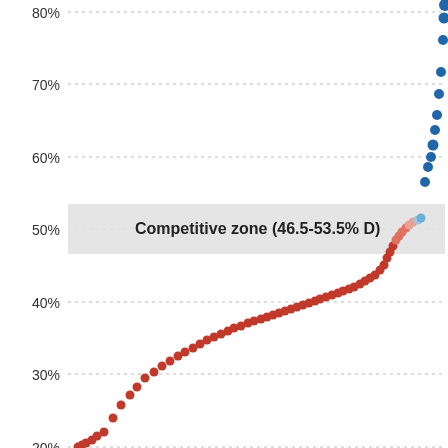[Figure (continuous-plot): Scatter plot showing districts ordered by Democratic vote share (x-axis, lower to higher) vs. percentage (y-axis, 0%-80%+). Red/dark red dots curve upward from ~20% on the left to ~50% in the middle, then blue dots jump to 55%-80%+ on the right. A shaded gray band marks the 'Competitive zone (46.5-53.5% D)' around the 50% line.]
← lower D vote share   higher D vote share →
Tooltip value: BVAP ?
Minority Composition ?
District by
Black Voting Age Population